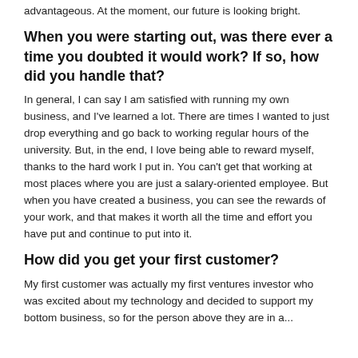advantageous. At the moment, our future is looking bright.
When you were starting out, was there ever a time you doubted it would work? If so, how did you handle that?
In general, I can say I am satisfied with running my own business, and I've learned a lot. There are times I wanted to just drop everything and go back to working regular hours of the university. But, in the end, I love being able to reward myself, thanks to the hard work I put in. You can't get that working at most places where you are just a salary-oriented employee. But when you have created a business, you can see the rewards of your work, and that makes it worth all the time and effort you have put and continue to put into it.
How did you get your first customer?
My first customer was actually my first ventures investor who was excited about my technology and decided to support my bottom business, so for the person above they are in a...